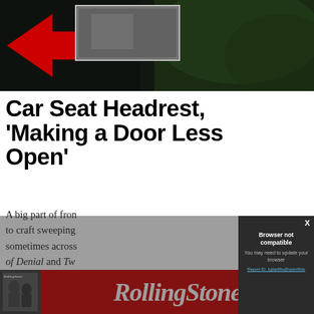[Figure (screenshot): Top portion of a dark webpage image showing a dark background with green tones, a red arrow/chevron on the left, and a small thumbnail image. This is a partial view of an article page.]
Car Seat Headrest, ‘Making a Door Less Open’
A big part of fron… to craft sweeping… sometimes across… of Denial and Tw… romance, respecti… such narrative arc… — “anger with so… Toledo wrote in a…
[Figure (screenshot): Browser not compatible modal dialog box with dark background. Shows title 'Browser not compatible', subtitle 'You may need to update your browser', and a link 'Report ID: 1gbpt0koj5vjdvr9ldo'. An X close button is in the top right corner.]
[Figure (logo): Rolling Stone magazine advertisement banner with red background showing the Rolling Stone logo in white italic text, and a magazine cover thumbnail on the left.]